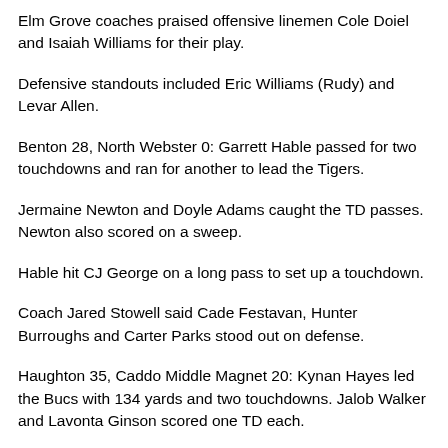Elm Grove coaches praised offensive linemen Cole Doiel and Isaiah Williams for their play.
Defensive standouts included Eric Williams (Rudy) and Levar Allen.
Benton 28, North Webster 0: Garrett Hable passed for two touchdowns and ran for another to lead the Tigers.
Jermaine Newton and Doyle Adams caught the TD passes. Newton also scored on a sweep.
Hable hit CJ George on a long pass to set up a touchdown.
Coach Jared Stowell said Cade Festavan, Hunter Burroughs and Carter Parks stood out on defense.
Haughton 35, Caddo Middle Magnet 20: Kynan Hayes led the Bucs with 134 yards and two touchdowns. Jalob Walker and Lavonta Ginson scored one TD each.